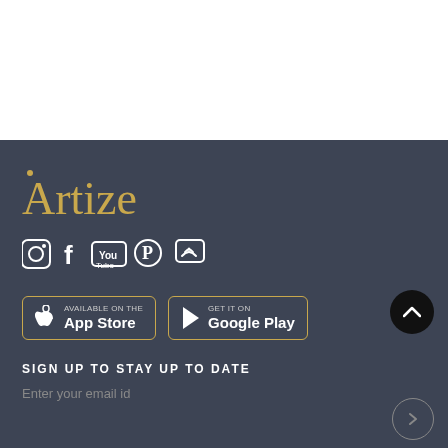[Figure (logo): Artize brand logo in gold/tan color on dark background]
[Figure (infographic): Social media icons: Instagram, Facebook, YouTube, Pinterest, and a messaging/chat icon]
[Figure (infographic): App Store and Google Play download buttons with gold borders]
SIGN UP TO STAY UP TO DATE
Enter your email id